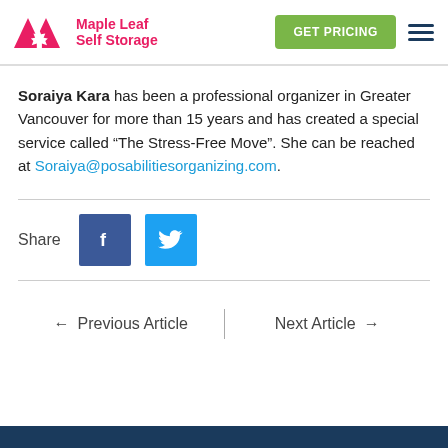Maple Leaf Self Storage — GET PRICING
Soraiya Kara has been a professional organizer in Greater Vancouver for more than 15 years and has created a special service called “The Stress-Free Move”. She can be reached at Soraiya@posabilitiesorganizing.com.
Share
← Previous Article  |  Next Article →